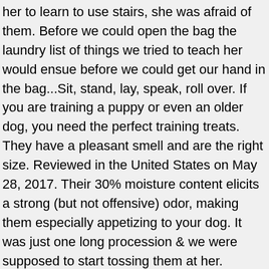her to learn to use stairs, she was afraid of them. Before we could open the bag the laundry list of things we tried to teach her would ensue before we could get our hand in the bag...Sit, stand, lay, speak, roll over. If you are training a puppy or even an older dog, you need the perfect training treats. They have a pleasant smell and are the right size. Reviewed in the United States on May 28, 2017. Their 30% moisture content elicits a strong (but not offensive) odor, making them especially appetizing to your dog. It was just one long procession & we were supposed to start tossing them at her. Reviewed in the United States on October 2, 2016. Highly recommend! Dogs have helped humans to solve many problems that human beings have encountered in recent â€¦ Reviewed in the United States on August 29, 2016. These tasty, high protein natural treats are great for frequent rewards and perfect for training. They smell AMAZING and have a nice softer but put together texture to them and they are perfect for a few small treats and even more so for training and teaching tricks with. Dog Training; Curbside Pickup; Pet Insurance; Repeat